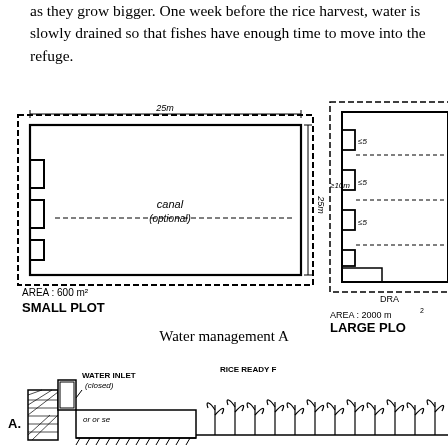as they grow bigger. One week before the rice harvest, water is slowly drained so that fishes have enough time to move into the refuge.
[Figure (engineering-diagram): Small plot diagram (left) showing a rectangular rice paddy field layout with canal (optional) in the center, labeled AREA: 600m², SMALL PLOT. Large plot diagram (right, partially cut off) showing a larger paddy layout with water inlet features, labeled AREA: 2000m², LARGE PLOT.]
Water management A
[Figure (engineering-diagram): Cross-section diagram labeled A. showing water inlet (closed), rice ready for harvest, and channel/refuge area with hatching indicating soil cross-section.]